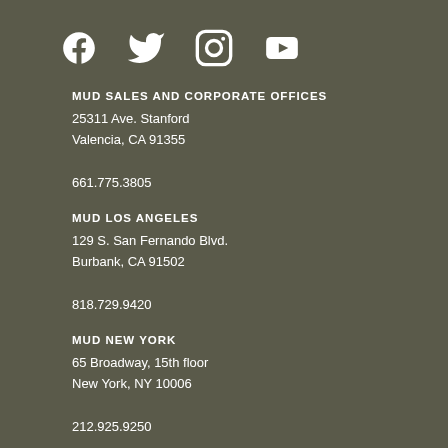[Figure (illustration): Four social media icons: Facebook, Twitter, Instagram, YouTube]
MUD SALES AND CORPORATE OFFICES
25311 Ave. Stanford
Valencia, CA 91355
661.775.3805
MUD LOS ANGELES
129 S. San Fernando Blvd.
Burbank, CA 91502
818.729.9420
MUD NEW YORK
65 Broadway, 15th floor
New York, NY 10006
212.925.9250
Copyright © 2022 MUD All rights reserved.
Privacy Policy